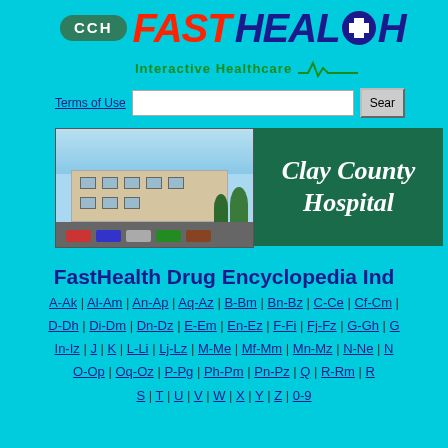[Figure (logo): CCH FastHealth Interactive Healthcare logo with red italic FAST text and dark blue HEALTH text with cross symbol]
Terms of Use
[Figure (photo): Photo of Clay County Hospital building exterior with parking lot and trees]
FastHealth Drug Encyclopedia Ind
A-Ak | Al-Am | An-Ap | Aq-Az | B-Bm | Bn-Bz | C-Ce | Cf-Cm |
D-Dh | Di-Dm | Dn-Dz | E-Em | En-Ez | F-Fi | Fj-Fz | G-Gh | G
In-Iz | J | K | L-Li | Lj-Lz | M-Me | Mf-Mm | Mn-Mz | N-Ne | N
O-Op | Oq-Oz | P-Pg | Ph-Pm | Pn-Pz | Q | R-Rm | R
S | T | U | V | W | X | Y | Z | 0-9